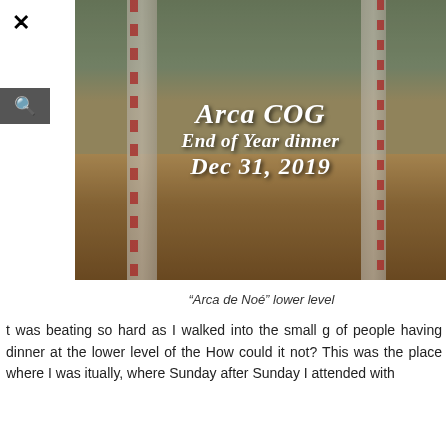[Figure (photo): Banquet hall room with round tables covered in decorative tablecloths, red chairs, columns with red and white candy-cane stripes, and plants in background. Text overlay reads: Arca COG End of Year dinner Dec 31, 2019]
“Arca de Noé” lower level
t was beating so hard as I walked into the small g of people having dinner at the lower level of the How could it not? This was the place where I was itually, where Sunday after Sunday I attended with